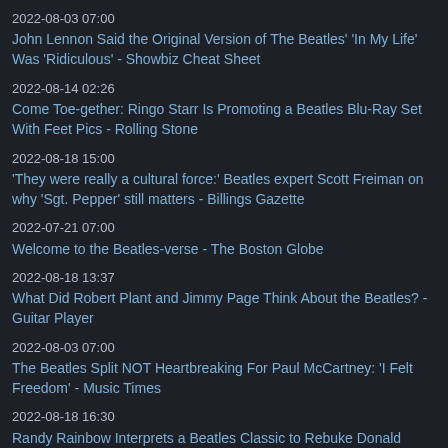2022-08-03 07:00
John Lennon Said the Original Version of The Beatles' 'In My Life' Was 'Ridiculous' - Showbiz Cheat Sheet
2022-08-14 02:26
Come Toe-gether: Ringo Starr Is Promoting a Beatles Blu-Ray Set With Feet Pics - Rolling Stone
2022-08-18 15:00
'They were really a cultural force:' Beatles expert Scott Freiman on why 'Sgt. Pepper' still matters - Billings Gazette
2022-07-21 07:00
Welcome to the Beatles-verse - The Boston Globe
2022-08-18 13:37
What Did Robert Plant and Jimmy Page Think About the Beatles? - Guitar Player
2022-08-03 07:00
The Beatles Split NOT Heartbreaking For Paul McCartney: 'I Felt Freedom' - Music Times
2022-08-18 16:30
Randy Rainbow Interprets a Beatles Classic to Rebuke Donald Trump in New Parody: Watch - Billboard
2022-08-18 12:00
When Paul McCartney first showed Bob Dylan 'Sgt. Pepper'